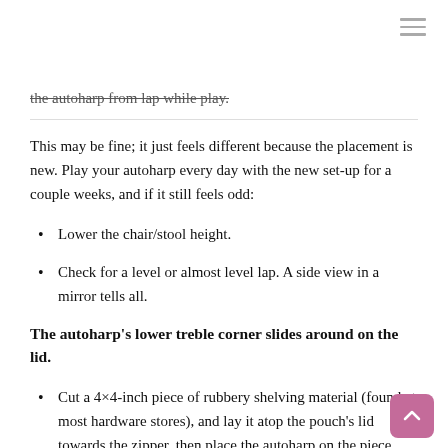≡ (hamburger menu icon)
... the autoharp from lap while play.
This may be fine; it just feels different because the placement is new. Play your autoharp every day with the new set-up for a couple weeks, and if it still feels odd:
Lower the chair/stool height.
Check for a level or almost level lap. A side view in a mirror tells all.
The autoharp's lower treble corner slides around on the lid.
Cut a 4×4-inch piece of rubbery shelving material (found at most hardware stores), and lay it atop the pouch's lid towards the zipper, then place the autoharp on the piece.